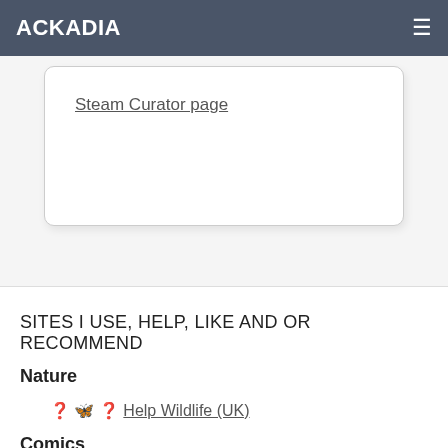ACKADIA
Steam Curator page
SITES I USE, HELP, LIKE AND OR RECOMMEND
Nature
🐾 Help Wildlife (UK)
Comics